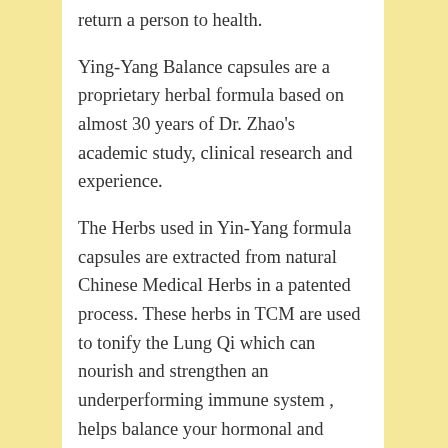return a person to health. Ying-Yang Balance capsules are a proprietary herbal formula based on almost 30 years of Dr. Zhao's academic study, clinical research and experience.

The Herbs used in Yin-Yang formula capsules are extracted from natural Chinese Medical Herbs in a patented process. These herbs in TCM are used to tonify the Lung Qi which can nourish and strengthen an underperforming immune system , helps balance your hormonal and autonomic nervous systems, helping you to increase energy levels, fight